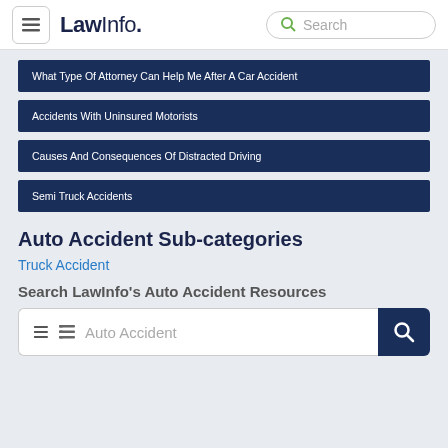LawInfo. Search
What Type Of Attorney Can Help Me After A Car Accident
Accidents With Uninsured Motorists
Causes And Consequences Of Distracted Driving
Semi Truck Accidents
Auto Accident Sub-categories
Truck Accident
Search LawInfo's Auto Accident Resources
Auto Accident